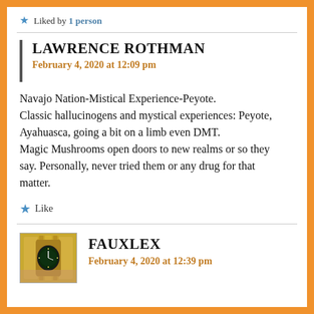Liked by 1person
LAWRENCE ROTHMAN
February 4, 2020 at 12:09 pm
Navajo Nation-Mistical Experience-Peyote. Classic hallucinogens and mystical experiences: Peyote, Ayahuasca, going a bit on a limb even DMT. Magic Mushrooms open doors to new realms or so they say. Personally, never tried them or any drug for that matter.
Like
FAUXLEX
February 4, 2020 at 12:39 pm